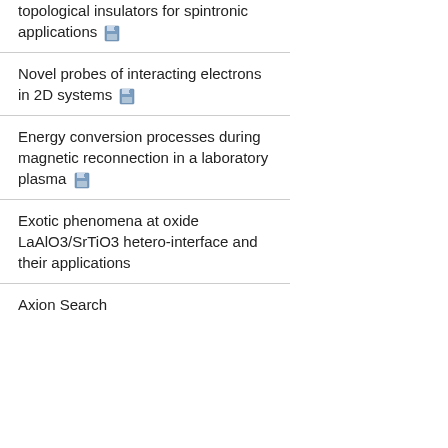topological insulators for spintronic applications
Novel probes of interacting electrons in 2D systems
Energy conversion processes during magnetic reconnection in a laboratory plasma
Exotic phenomena at oxide LaAlO3/SrTiO3 hetero-interface and their applications
Axion Search